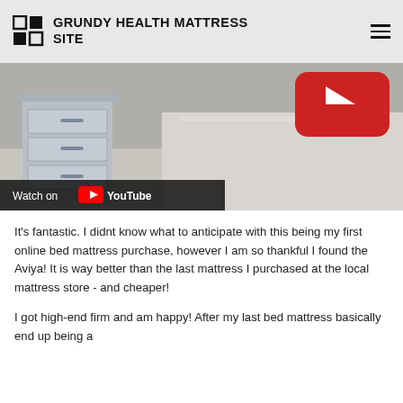GRUNDY HEALTH MATTRESS SITE
[Figure (screenshot): YouTube video thumbnail showing a bedroom nightstand with drawers, a YouTube play button visible in upper right, and a 'Watch on YouTube' bar at the bottom.]
It's fantastic. I didnt know what to anticipate with this being my first online bed mattress purchase, however I am so thankful I found the Aviya! It is way better than the last mattress I purchased at the local mattress store - and cheaper!
I got high-end firm and am happy! After my last bed mattress basically end up being a